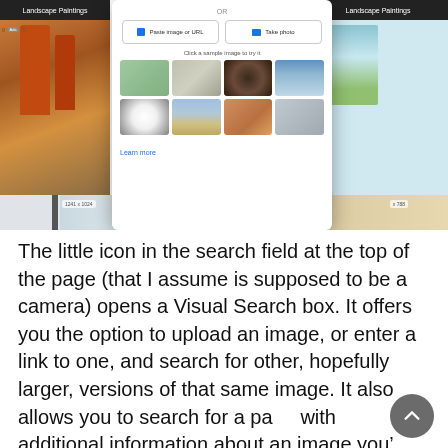[Figure (screenshot): Screenshot of a Visual Search box overlay on a Google shopping results page for Landscape Paintings. The modal shows 'OR', two buttons 'Paste image or URL' and 'Take photo', a 'Click a sample image to try it' prompt, and a grid of 8 sample thumbnail images (sunglasses, room, coffee cups, harbor, flower, pyramid/Louvre, dog, mug). A 'Learn more' link appears at the bottom of the modal. Behind the modal are landscape painting product listings with prices including $4,800.00 and attribution to Frank Dekkers.]
The little icon in the search field at the top of the page (that I assume is supposed to be a camera) opens a Visual Search box. It offers you the option to upload an image, or enter a link to one, and search for other, hopefully larger, versions of that same image. It also allows you to search for a page with additional information about an image you’re trying to identify.